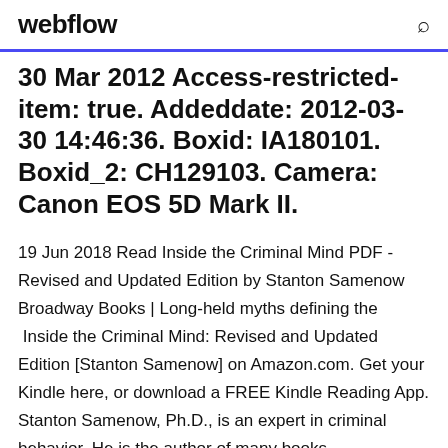webflow
30 Mar 2012 Access-restricted-item: true. Addeddate: 2012-03-30 14:46:36. Boxid: IA180101. Boxid_2: CH129103. Camera: Canon EOS 5D Mark II.
19 Jun 2018 Read Inside the Criminal Mind PDF - Revised and Updated Edition by Stanton Samenow Broadway Books | Long-held myths defining the  Inside the Criminal Mind: Revised and Updated Edition [Stanton Samenow] on Amazon.com. Get your Kindle here, or download a FREE Kindle Reading App. Stanton Samenow, Ph.D., is an expert in criminal behavior. He is the author of many books